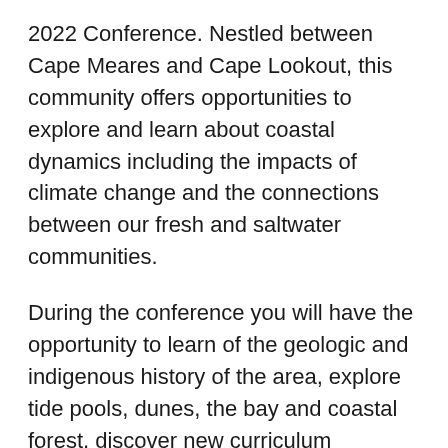2022 Conference. Nestled between Cape Meares and Cape Lookout, this community offers opportunities to explore and learn about coastal dynamics including the impacts of climate change and the connections between our fresh and saltwater communities.
During the conference you will have the opportunity to learn of the geologic and indigenous history of the area, explore tide pools, dunes, the bay and coastal forest, discover new curriculum opportunities for students of various levels and to share your experiences and curriculum.  Field experiences each day offer opportunities for kayaking, stand up paddleboarding, crabbing, clamming, hiking, and playing in the dunes.  Evening activities bring beach bonfires, outdoor games